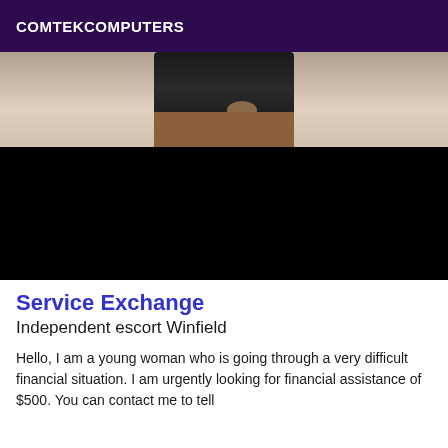COMTEKCOMPUTERS
[Figure (photo): A woman wearing a black mini skirt standing against a light background; the lower portion of the image is blacked out.]
Service Exchange
Independent escort Winfield
Hello, I am a young woman who is going through a very difficult financial situation. I am urgently looking for financial assistance of $500. You can contact me to tell